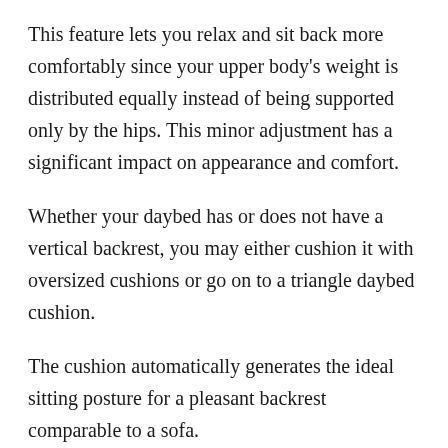This feature lets you relax and sit back more comfortably since your upper body's weight is distributed equally instead of being supported only by the hips. This minor adjustment has a significant impact on appearance and comfort.
Whether your daybed has or does not have a vertical backrest, you may either cushion it with oversized cushions or go on to a triangle daybed cushion.
The cushion automatically generates the ideal sitting posture for a pleasant backrest comparable to a sofa.
3. Add More Pillows